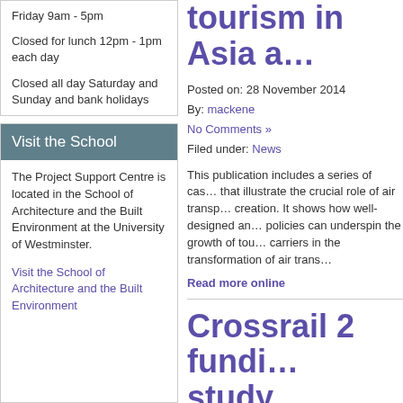Friday 9am - 5pm
Closed for lunch 12pm - 1pm each day
Closed all day Saturday and Sunday and bank holidays
Visit the School
The Project Support Centre is located in the School of Architecture and the Built Environment at the University of Westminster.
Visit the School of Architecture and the Built Environment
tourism in Asia a…
Posted on: 28 November 2014
By: mackene
No Comments »
Filed under: News
This publication includes a series of cas… that illustrate the crucial role of air transp… creation. It shows how well-designed an… policies can underspin the growth of tou… carriers in the transformation of air trans…
Read more online
Crossrail 2 fundi… study
Posted on: 28 November 2014
By: mackene
No Comments »
Filed under: News